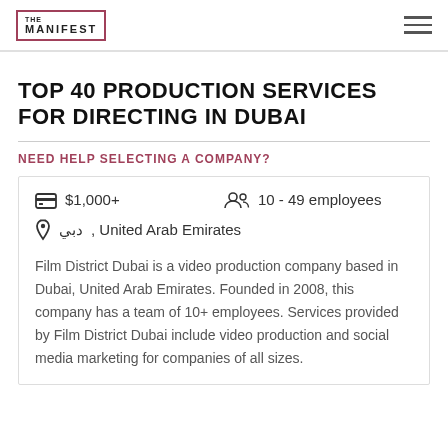THE MANIFEST
TOP 40 PRODUCTION SERVICES FOR DIRECTING IN DUBAI
NEED HELP SELECTING A COMPANY?
$1,000+   10 - 49 employees   دبي, United Arab Emirates
Film District Dubai is a video production company based in Dubai, United Arab Emirates. Founded in 2008, this company has a team of 10+ employees. Services provided by Film District Dubai include video production and social media marketing for companies of all sizes.